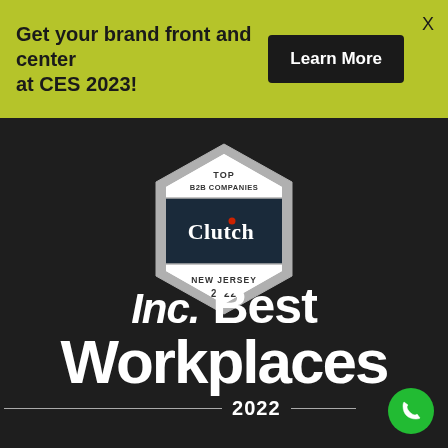Get your brand front and center at CES 2023!
Learn More
[Figure (logo): Clutch Top B2B Companies badge - hexagonal shape with dark navy center. Text reads: TOP B2B COMPANIES, Clutch, NEW JERSEY, 2022]
[Figure (logo): Inc. Best Workplaces 2022 award logo in white text on dark background]